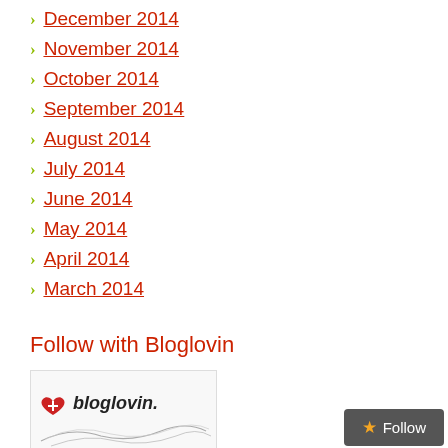December 2014
November 2014
October 2014
September 2014
August 2014
July 2014
June 2014
May 2014
April 2014
March 2014
Follow with Bloglovin
[Figure (logo): Bloglovin logo with heart and handwritten 'bloglovin.' text over a sketch illustration]